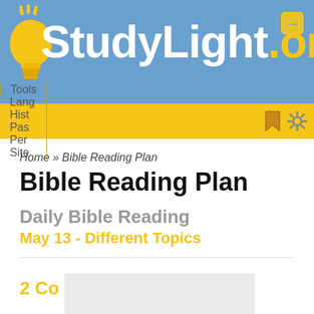StudyLight.org
Tools | Lang | Hist | Pas | Per | Site
Home » Bible Reading Plan
Bible Reading Plan
Daily Bible Reading
May 13 - Different Topics
2 Co